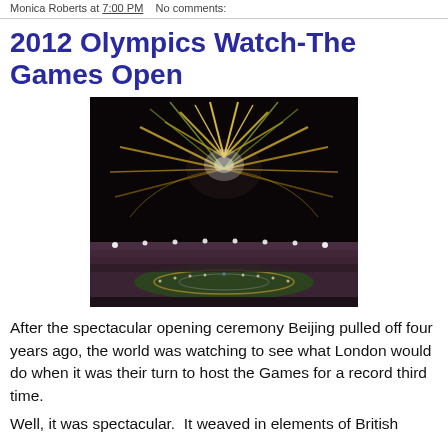Monica Roberts at 7:00 PM   No comments:
2012 Olympics Watch-The Games Open
[Figure (photo): Fireworks exploding above an Olympic stadium during the opening ceremony, with performers on the field below and bright light trails radiating outward.]
After the spectacular opening ceremony Beijing pulled off four years ago, the world was watching to see what London would do when it was their turn to host the Games for a record third time.
Well, it was spectacular.  It weaved in elements of British